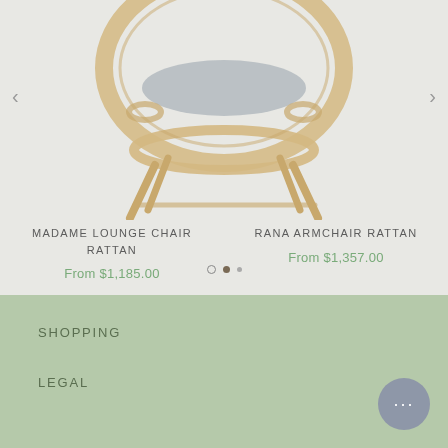[Figure (photo): Rattan lounge chair (Madame) shown partially, on light grey background]
MADAME LOUNGE CHAIR RATTAN
RANA ARMCHAIR RATTAN
From $1,185.00
From $1,357.00
[Figure (other): Carousel pagination dots: circle outline, filled circle, small dot]
SHOPPING
LEGAL